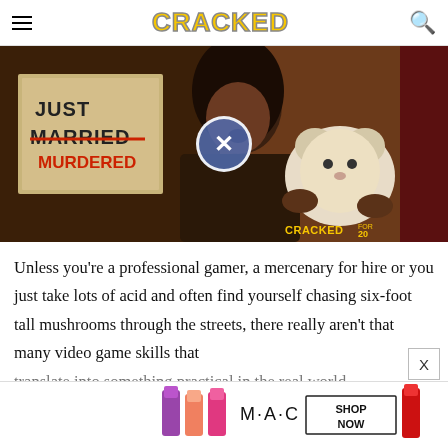CRACKED
[Figure (photo): Dark photo of a person holding a stuffed animal toy, with a sign in the background reading JUST MARRIED MURDERED. A circular close/X button overlay is centered on the image. Bottom right shows CRACKED FOR 20 watermark.]
Unless you're a professional gamer, a mercenary for hire or you just take lots of acid and often find yourself chasing six-foot tall mushrooms through the streets, there really aren't that many video game skills that translate into something practical in the real world
[Figure (photo): MAC cosmetics advertisement showing lipsticks in purple, pink, and red colors with text SHOP NOW]